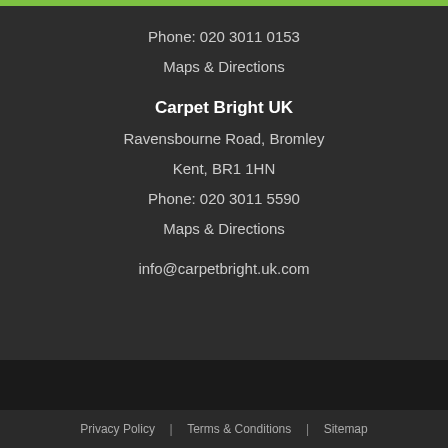Phone: 020 3011 0153
Maps & Directions
Carpet Bright UK
Ravensbourne Road, Bromley
Kent, BR1 1HN
Phone: 020 3011 5590
Maps & Directions
info@carpetbright.uk.com
Privacy Policy  |  Terms & Conditions  |  Sitemap